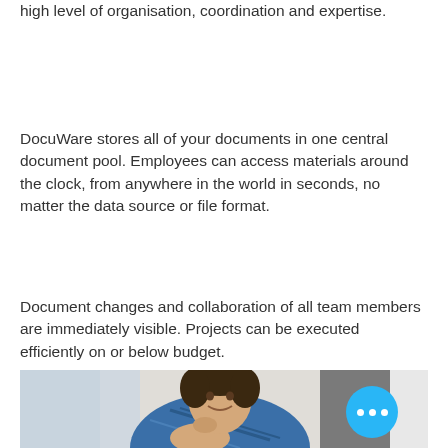high level of organisation, coordination and expertise.
DocuWare stores all of your documents in one central document pool. Employees can access materials around the clock, from anywhere in the world in seconds, no matter the data source or file format.
Document changes and collaboration of all team members are immediately visible. Projects can be executed efficiently on or below budget.
[Figure (photo): A man in a blue plaid shirt smiling, leaning forward with his hand on his chin, in an indoor setting with a grey door visible in background. A blue circular button with three white dots (more options) overlaid in the bottom right.]